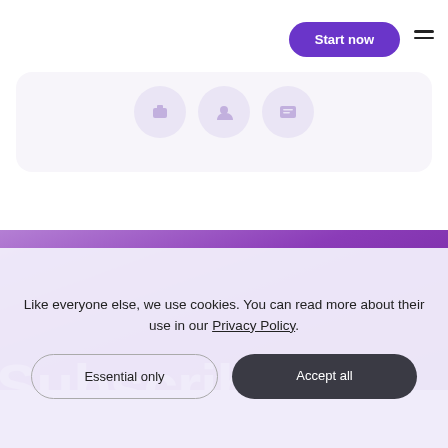[Figure (screenshot): Navigation bar with 'Start now' purple pill button and hamburger menu icon on the right]
[Figure (screenshot): Card with light purple background containing three circular icon placeholders]
[Figure (screenshot): Purple gradient section with large partial white heading text cut off at bottom]
Like everyone else, we use cookies. You can read more about their use in our Privacy Policy.
Essential only
Accept all